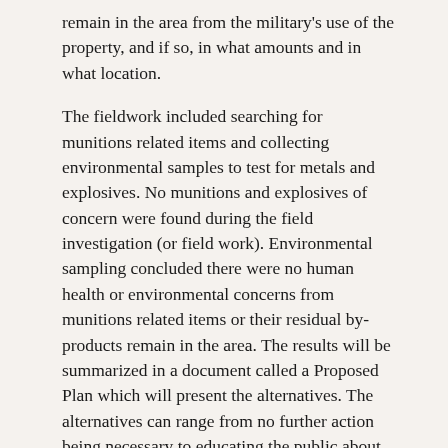remain in the area from the military's use of the property, and if so, in what amounts and in what location.
The fieldwork included searching for munitions related items and collecting environmental samples to test for metals and explosives. No munitions and explosives of concern were found during the field investigation (or field work). Environmental sampling concluded there were no human health or environmental concerns from munitions related items or their residual by-products remain in the area. The results will be summarized in a document called a Proposed Plan which will present the alternatives. The alternatives can range from no further action being necessary to educating the public about the site to conducting a removal action to search for and remove munitions. When the Proposed Plan is ready, the Corps will present it at a public meeting, and the public will have 30 days to review and submit comments on the plan.
Final Proposed Plan